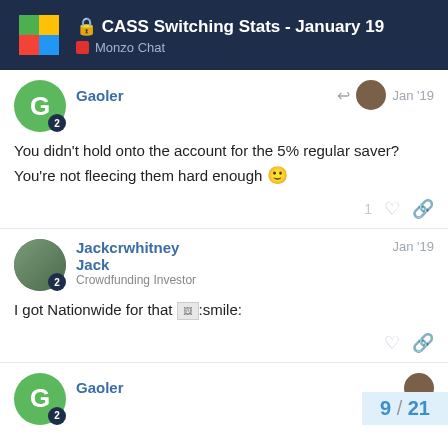CASS Switching Stats - January 19 | Monzo Chat
Gaoler Jan '19
You didn't hold onto the account for the 5% regular saver? You're not fleecing them hard enough 🙂
Jackcrwhitney Jack Crowdfunding Investor Jan '19
I got Nationwide for that 😄:smile:
Gaoler
9 / 21